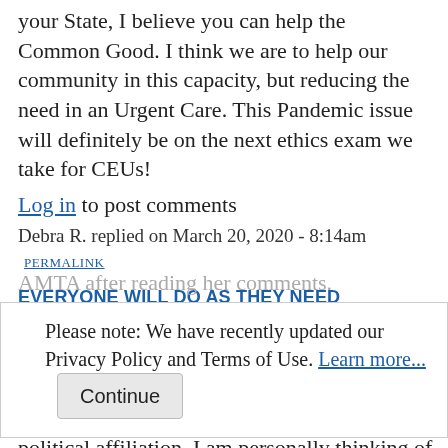your State, I believe you can help the Common Good. I think we are to help our community in this capacity, but reducing the need in an Urgent Care. This Pandemic issue will definitely be on the next ethics exam we take for CEUs!
Log in to post comments
Debra R. replied on March 20, 2020 - 8:14am PERMALINK
EVERYONE WILL DO AS THEY NEED
Everyone will do as they need. Personally I felt that the PS by Ms Werner was angry and political.  As a group we should be leading the world to become more unified, whatever your political affiliation. I am personally thinking of moving to
AMTA after reading her comments.
Log in to post comments
Debra B. replied on March 22, 2020 - 7:56am PERMALINK
Please note: We have recently updated our Privacy Policy and Terms of Use. Learn more... Continue